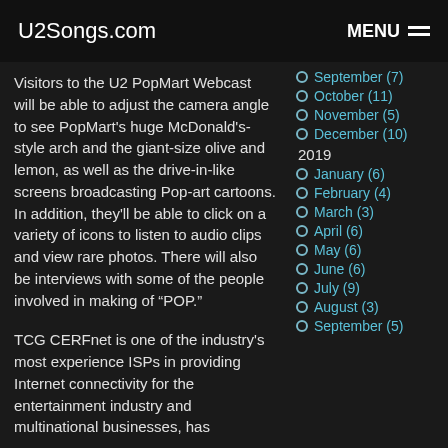U2Songs.com | MENU
Visitors to the U2 PopMart Webcast will be able to adjust the camera angle to see PopMart's huge McDonald's-style arch and the giant-size olive and lemon, as well as the drive-in-like screens broadcasting Pop-art cartoons. In addition, they'll be able to click on a variety of icons to listen to audio clips and view rare photos. There will also be interviews with some of the people involved in making of “POP.”
TCG CERFnet is one of the industry's most experience ISPs in providing Internet connectivity for the entertainment industry and multinational businesses, has
September (7)
October (11)
November (5)
December (10)
2019
January (6)
February (4)
March (3)
April (6)
May (6)
June (6)
July (9)
August (3)
September (5)